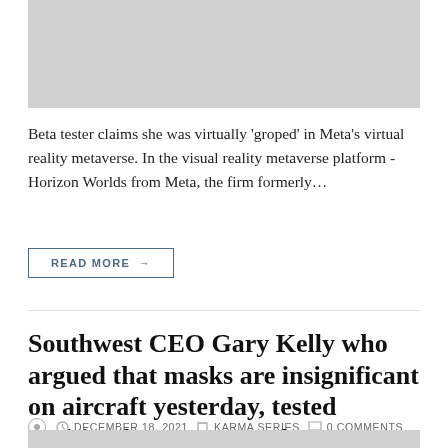[Figure (photo): Gray placeholder image at top of page]
Beta tester claims she was virtually 'groped' in Meta's virtual reality metaverse. In the visual reality metaverse platform - Horizon Worlds from Meta, the firm formerly…
READ MORE →
Southwest CEO Gary Kelly who argued that masks are insignificant on aircraft yesterday, tested positive for COVID today
DECEMBER 18, 2021   KARMA SERIES   0 COMMENTS
[Figure (photo): Gray placeholder image at bottom of page]